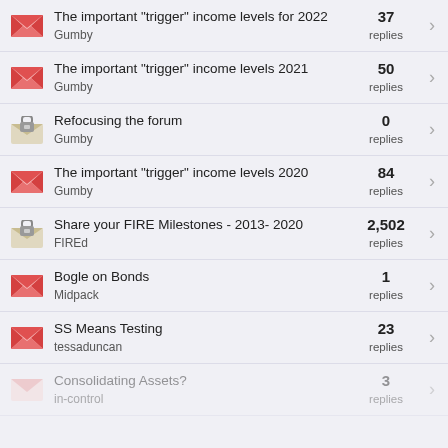The important "trigger" income levels for 2022 | Gumby | 37 replies
The important "trigger" income levels 2021 | Gumby | 50 replies
Refocusing the forum | Gumby | 0 replies
The important "trigger" income levels 2020 | Gumby | 84 replies
Share your FIRE Milestones - 2013- 2020 | FIREd | 2,502 replies
Bogle on Bonds | Midpack | 1 replies
SS Means Testing | tessaduncan | 23 replies
Consolidating Assets? | in-control | 3 replies